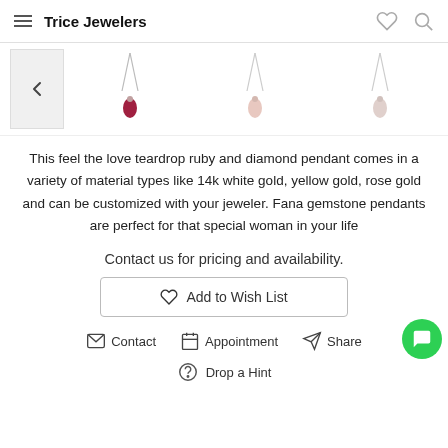Trice Jewelers
[Figure (photo): Thumbnail carousel showing teardrop ruby and diamond pendants with back arrow navigation. Three pendant images visible on silver chains.]
This feel the love teardrop ruby and diamond pendant comes in a variety of material types like 14k white gold, yellow gold, rose gold and can be customized with your jeweler. Fana gemstone pendants are perfect for that special woman in your life
Contact us for pricing and availability.
Add to Wish List
Contact   Appointment   Share
Drop a Hint